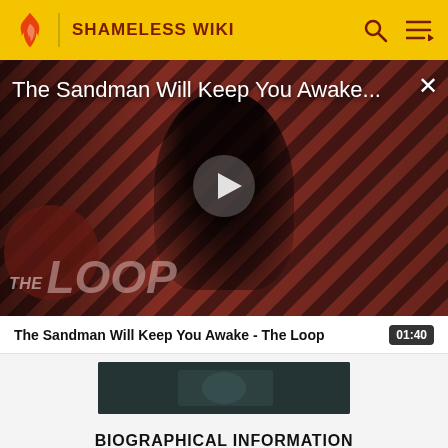SHAMELESS WIKI
[Figure (screenshot): Video player showing 'The Sandman Will Keep You Awake...' with a dark-clad figure against diagonal red/dark stripes background, play button in center, 'THE LOOP' logo bottom-left, close button top-right]
The Sandman Will Keep You Awake - The Loop
01:40
[Figure (photo): Small video thumbnail showing dark/teal toned image]
BIOGRAPHICAL INFORMATION